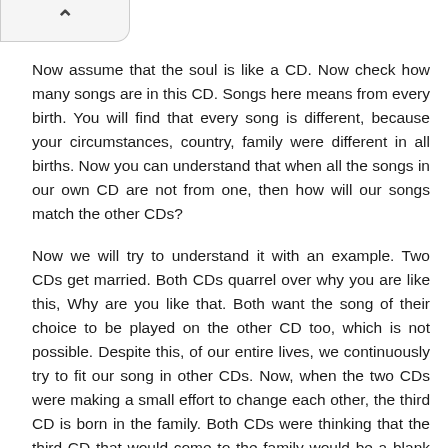^
Now assume that the soul is like a CD. Now check how many songs are in this CD. Songs here means from every birth. You will find that every song is different, because your circumstances, country, family were different in all births. Now you can understand that when all the songs in our own CD are not from one, then how will our songs match the other CDs?
Now we will try to understand it with an example. Two CDs get married. Both CDs quarrel over why you are like this, Why are you like that. Both want the song of their choice to be played on the other CD too, which is not possible. Despite this, of our entire lives, we continuously try to fit our song in other CDs. Now, when the two CDs were making a small effort to change each other, the third CD is born in the family. Both CDs were thinking that the third CD that would come to the family would be a blank CD. We will write songs of our choice in it, but did a